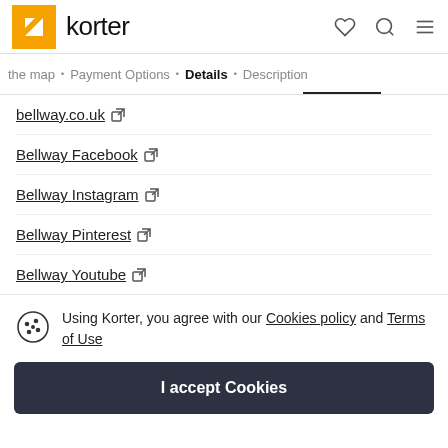korter
the map · Payment Options · Details · Description
bellway.co.uk [external link]
Bellway Facebook [external link]
Bellway Instagram [external link]
Bellway Pinterest [external link]
Bellway Youtube [external link]
Using Korter, you agree with our Cookies policy and Terms of Use
I accept Cookies